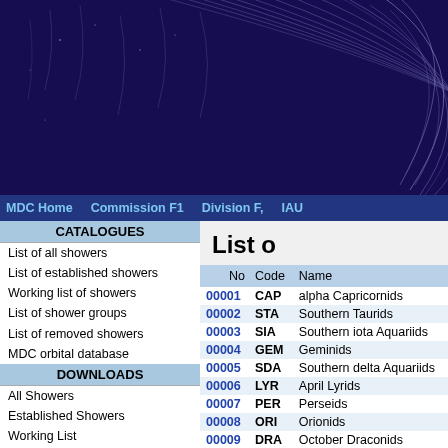[Figure (illustration): Star trail photograph showing circular star trails on dark blue/purple night sky background]
MDC Home   Commission F1   Division F,   IAU
CATALOGUES
List of all showers
List of established showers
Working list of showers
List of shower groups
List of removed showers
MDC orbital database
DOWNLOADS
All Showers
Established Showers
Working List
Groups of Showers
Removed Showers
Shower mean data template
Look up table template
MISCELLANEA
New meteor shower reports
Shower nomenclature rules
Nomenclature working group
MDC bibliographical references
OTHER SITES
UWO - CMOR
NASA - CAMS
NASA - All Sky Fireball Network
List o
| No | Code | Name |
| --- | --- | --- |
| 00001 | CAP | alpha Capricornids |
| 00002 | STA | Southern Taurids |
| 00003 | SIA | Southern iota Aquariids |
| 00004 | GEM | Geminids |
| 00005 | SDA | Southern delta Aquariids |
| 00006 | LYR | April Lyrids |
| 00007 | PER | Perseids |
| 00008 | ORI | Orionids |
| 00009 | DRA | October Draconids |
| 00010 | QUA | Quadrantids |
| 00011 | EVI | eta Virginids |
| 00012 | KCG | kappa Cygnids |
| 00013 | LEO | Leonids |
| 00014 | XOR | chi Orionid Complex |
| 00015 | URS | Ursids |
| 00016 | HYD | sigma Hydrids |
| 00017 | NTA | Northern Taurids |
| 00018 | AND | Andromedids |
| 00019 | ??? | Perseids more... |